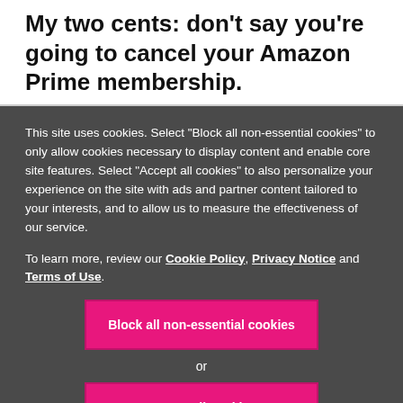My two cents: don't say you're going to cancel your Amazon Prime membership.
This site uses cookies. Select "Block all non-essential cookies" to only allow cookies necessary to display content and enable core site features. Select "Accept all cookies" to also personalize your experience on the site with ads and partner content tailored to your interests, and to allow us to measure the effectiveness of our service.
To learn more, review our Cookie Policy, Privacy Notice and Terms of Use.
Block all non-essential cookies
or
Accept all cookies